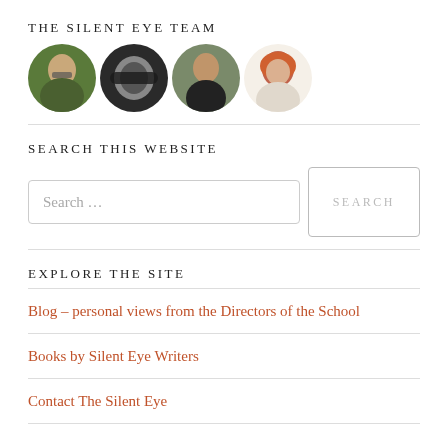THE SILENT EYE TEAM
[Figure (photo): Four circular/square avatar photos of team members side by side]
SEARCH THIS WEBSITE
Search ... [Search button]
EXPLORE THE SITE
Blog – personal views from the Directors of the School
Books by Silent Eye Writers
Contact The Silent Eye